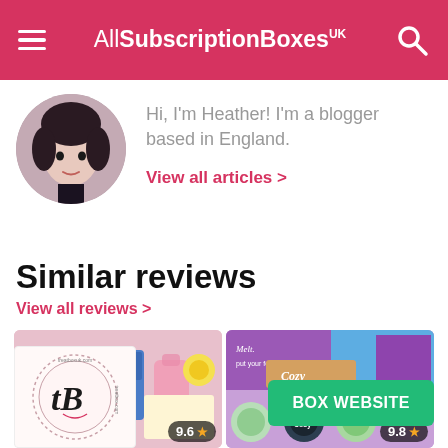AllSubscriptionBoxes UK
Hi, I'm Heather! I'm a blogger based in England.
View all articles >
Similar reviews
View all reviews >
[Figure (photo): Review card 1: colorful Japanese subscription box items including plush toys and snacks, rated 9.6 stars]
[Figure (photo): Review card 2: purple-themed self-care subscription box items including bath products and circular tins, rated 9.8 stars]
[Figure (logo): TB logo circular stamp in pink/cream]
BOX WEBSITE